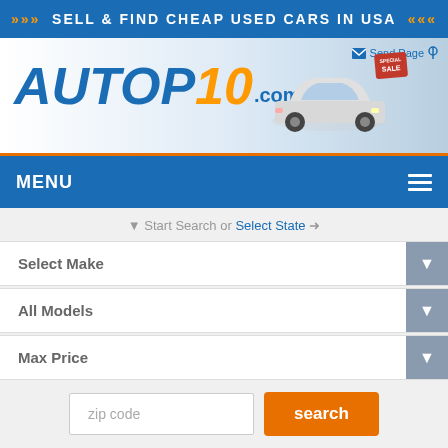>>> SELL & FIND CHEAP USED CARS IN USA <<<
[Figure (logo): AUTOP10.com logo with car illustration and SALE tag]
MENU
Start Search or Select State
Select Make
All Models
Max Price
zip code
search
Top